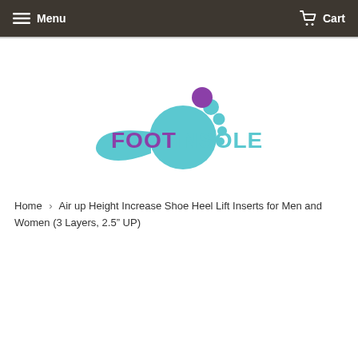Menu   Cart
[Figure (logo): FootInsole logo with stylized foot graphic in teal/blue and text FOOTINSOLE in purple and teal]
Home › Air up Height Increase Shoe Heel Lift Inserts for Men and Women (3 Layers, 2.5" UP)